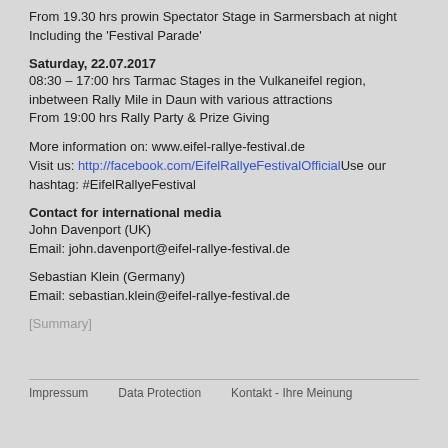From 19.30 hrs prowin Spectator Stage in Sarmersbach at night Including the 'Festival Parade'
Saturday, 22.07.2017
08:30 – 17:00 hrs Tarmac Stages in the Vulkaneifel region, inbetween Rally Mile in Daun with various attractions
From 19:00 hrs Rally Party & Prize Giving
More information on: www.eifel-rallye-festival.de
Visit us: http://facebook.com/EifelRallyeFestivalOfficial Use our hashtag: #EifelRallyeFestival
Contact for international media
John Davenport (UK)
Email: john.davenport@eifel-rallye-festival.de
Sebastian Klein (Germany)
Email: sebastian.klein@eifel-rallye-festival.de
[Summary]
Impressum   Data Protection   Kontakt - Ihre Meinung